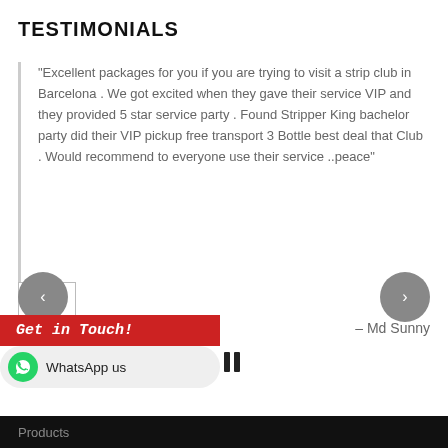TESTIMONIALS
“Excellent packages for you if you are trying to visit a strip club in Barcelona . We got excited when they gave their service VIP and they provided 5 star service party . Found Stripper King bachelor party did their VIP pickup free transport 3 Bottle best deal that Club . Would recommend to everyone use their service ..peace”
– Md Sunny
[Figure (other): Play and pause media control icons]
[Figure (other): Left and right carousel navigation arrows (circular grey buttons)]
Get in Touch!
WhatsApp us
Products